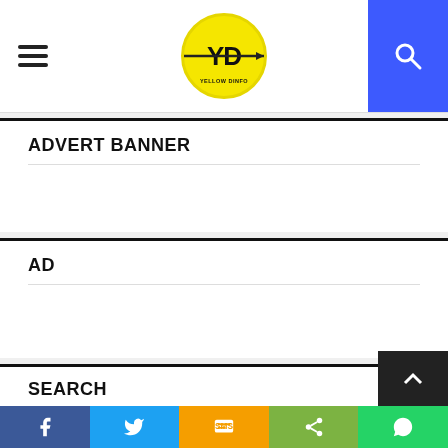YD YELLOW DINFO — header with hamburger menu, logo, and search icon
ADVERT BANNER
AD
SEARCH
Enter keyword...